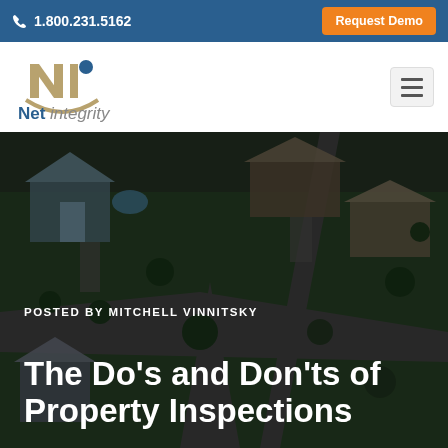1.800.231.5162  |  Request Demo
[Figure (logo): Net integrity logo with stylized NI letters in gold/tan and blue dot, with the text 'Net integrity' below]
[Figure (photo): Aerial view of a residential neighborhood with houses, driveways, trees, and streets viewed from above, dark overlay]
POSTED BY MITCHELL VINNITSKY
The Do's and Don'ts of Property Inspections